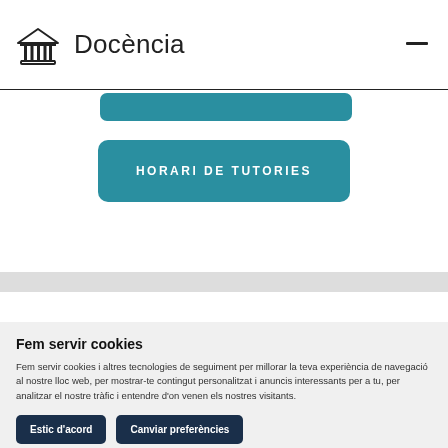Docència
[Figure (screenshot): Teal rounded button (partially visible) at top of content section]
HORARI DE TUTORIES
Fem servir cookies
Fem servir cookies i altres tecnologies de seguiment per millorar la teva experiència de navegació al nostre lloc web, per mostrar-te contingut personalitzat i anuncis interessants per a tu, per analitzar el nostre tràfic i entendre d'on venen els nostres visitants.
Estic d'acord
Canviar preferències